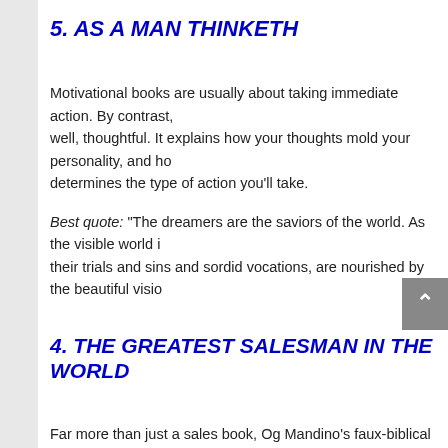5. AS A MAN THINKETH
Motivational books are usually about taking immediate action. By contrast, this book is, well, thoughtful. It explains how your thoughts mold your personality, and how that determines the type of action you'll take.
Best quote: “The dreamers are the saviors of the world. As the visible world is sustained by the invisible, so men, through all their trials and sins and sordid vocations, are nourished by the beautiful visions of their solitary dreamers.”
4. THE GREATEST SALESMAN IN THE WORLD
Far more than just a sales book, Og Mandino’s faux-biblical parable encourages believing in yourself and your ability to help others. Required reading for any salesperson.
Best quote: “I will live this day as if it is my last. This day is all I have and the…”